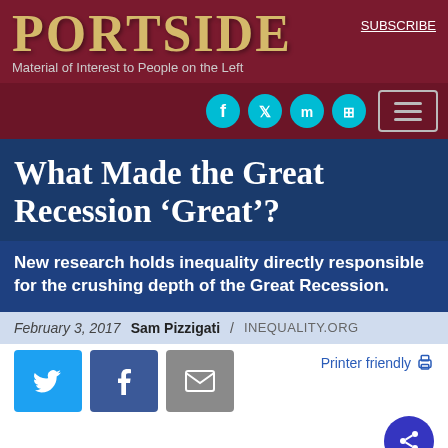PORTSIDE
Material of Interest to People on the Left
SUBSCRIBE
What Made the Great Recession ‘Great’?
New research holds inequality directly responsible for the crushing depth of the Great Recession.
February 3, 2017   Sam Pizzigati /  INEQUALITY.ORG
Printer friendly
30%